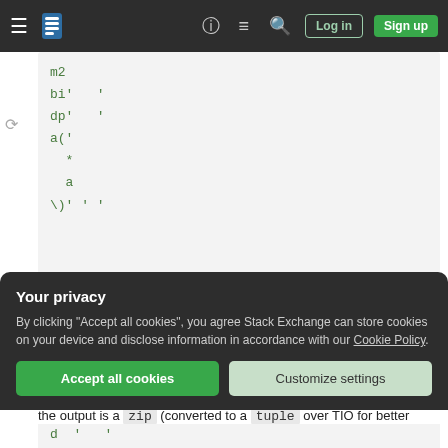Stack Exchange navigation bar with Log in and Sign up buttons
[Figure (screenshot): Code block in monospace green text on light grey background showing code lines: m2, bi'  ', dp'  ', a(' , *, a, \)'""]
Try it online!
Based on Joel's approach. The input is a tuple of tuples, and the output is a zip (converted to a tuple over TIO for better visibility).
Your privacy
By clicking "Accept all cookies", you agree Stack Exchange can store cookies on your device and disclose information in accordance with our Cookie Policy.
Accept all cookies  Customize settings
[Figure (screenshot): Bottom code snippet showing: d '  ']